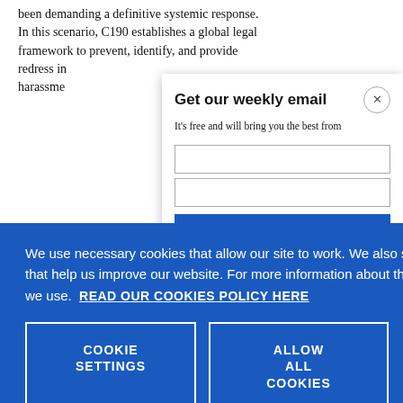been demanding a definitive systemic response. In this scenario, C190 establishes a global legal framework to prevent, identify, and provide redress in harassme
Get our weekly email
It's free and will bring you the best from
We use necessary cookies that allow our site to work. We also set optional cookies that help us improve our website. For more information about the types of cookies we use. READ OUR COOKIES POLICY HERE
COOKIE SETTINGS
ALLOW ALL COOKIES
1) This cor